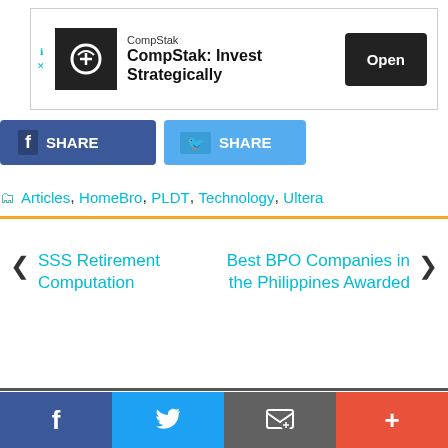[Figure (screenshot): CompStak advertisement banner with logo, 'CompStak: Invest Strategically' text, and an 'Open' button]
[Figure (screenshot): Facebook SHARE and Twitter SHARE social sharing buttons]
Articles, HomeBro, PLDT, Technology, Ultera
SSS Retirement Computation
Best BPO Companies in the Philippines Awarded
[Figure (screenshot): Bottom social bar with Facebook, Twitter, email/envelope, and plus buttons]